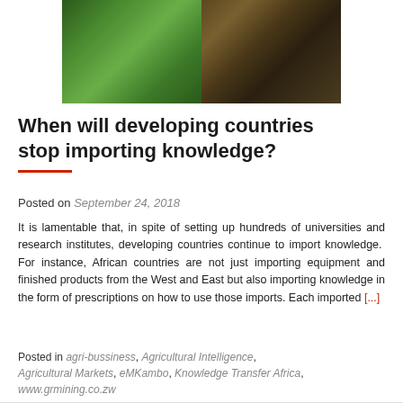[Figure (photo): Two-panel hero image: left panel shows green cucumbers/vegetables on a surface; right panel shows a tractor or farm machinery with a person in outdoor setting.]
When will developing countries stop importing knowledge?
Posted on September 24, 2018
It is lamentable that, in spite of setting up hundreds of universities and research institutes, developing countries continue to import knowledge.  For instance, African countries are not just importing equipment and finished products from the West and East but also importing knowledge in the form of prescriptions on how to use those imports. Each imported [...]
Posted in agri-bussiness, Agricultural Intelligence, Agricultural Markets, eMKambo, Knowledge Transfer Africa, www.grmining.co.zw